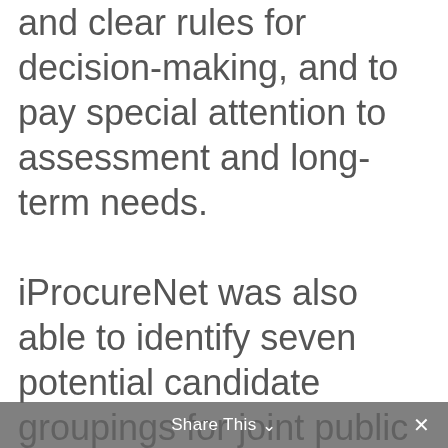and clear rules for decision-making, and to pay special attention to assessment and long-term needs.

iProcureNet was also able to identify seven potential candidate groupings for joint public procurement from the analysis of seven investment plans collected
Share This ∨  ×